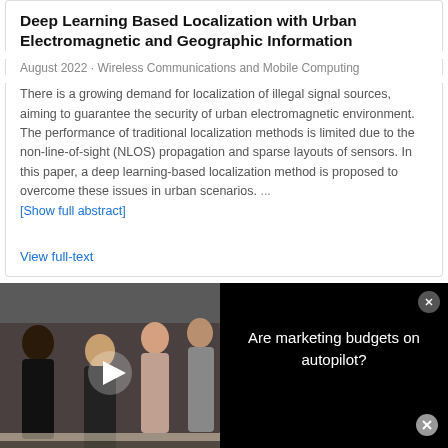Deep Learning Based Localization with Urban Electromagnetic and Geographic Information
August 2022 · Wireless Communications and Mobile Computing
There is a growing demand for localization of illegal signal sources, aiming to guarantee the security of urban electromagnetic environment. The performance of traditional localization methods is limited due to the non-line-of-sight (NLOS) propagation and sparse layouts of sensors. In this paper, a deep learning-based localization method is proposed to overcome these issues in urban scenarios. ... [Show full abstract]
View full-text
[Figure (screenshot): Video advertisement showing people in an office setting with text overlay 'ARE MARKETING BUDGETS ON AUTOPILOT?' and a play button. Right side shows black background with text 'Are marketing budgets on autopilot?' and a close button.]
Lander Galdos · Javier Trinidad · Nagore Otegi · [...] · Carlos Garcia   Advertisement
[Figure (screenshot): Bottom advertisement for Invitrogen showing text 'Simple design for genome editing experiments' and 'Start simply ›' link, with Invitrogen logo by Thermo Fisher Scientific.]